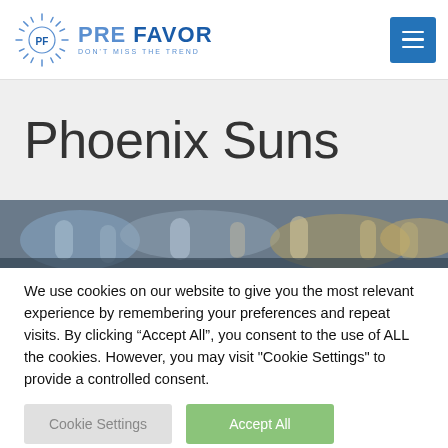PRE FAVOR - DON'T MISS THE TREND
Phoenix Suns
[Figure (photo): Blurred crowd photo of basketball arena audience]
We use cookies on our website to give you the most relevant experience by remembering your preferences and repeat visits. By clicking “Accept All”, you consent to the use of ALL the cookies. However, you may visit "Cookie Settings" to provide a controlled consent.